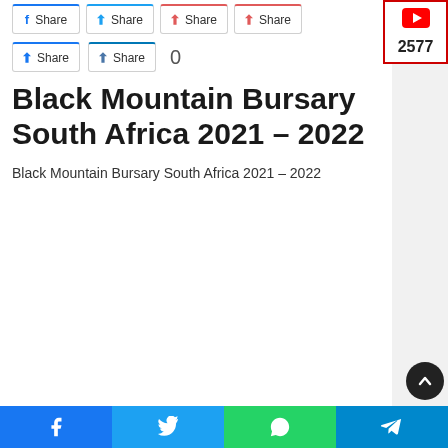[Figure (screenshot): Row of share buttons (Facebook, Twitter, Pinterest, WhatsApp) with colored top borders]
[Figure (screenshot): Second row of share buttons (LinkedIn, VK) and a count of 0]
[Figure (logo): YouTube widget with red border showing count 2577]
Black Mountain Bursary South Africa 2021 – 2022
Black Mountain Bursary South Africa 2021 – 2022
[Figure (screenshot): Dark circular scroll-to-top button with upward arrow]
[Figure (screenshot): Bottom social share bar with Facebook, Twitter, WhatsApp, Telegram buttons]